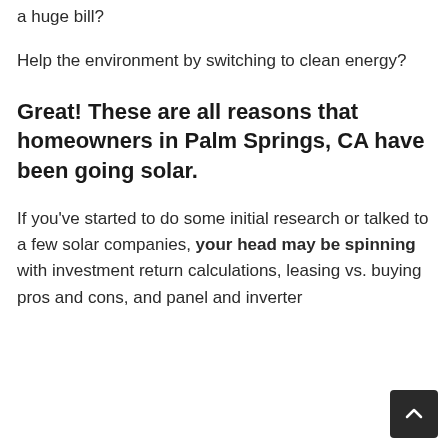a huge bill?
Help the environment by switching to clean energy?
Great! These are all reasons that homeowners in Palm Springs, CA have been going solar.
If you've started to do some initial research or talked to a few solar companies, your head may be spinning with investment return calculations, leasing vs. buying pros and cons, and panel and inverter